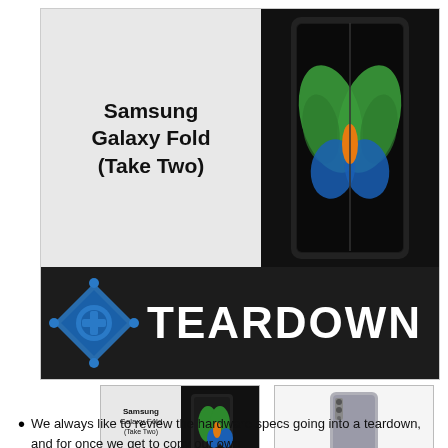[Figure (illustration): Samsung Galaxy Fold (Take Two) Teardown banner image with iFixit logo and stylized teardown text on dark background, showing the Galaxy Fold phone with butterfly wallpaper]
[Figure (thumbnail): Thumbnail of Samsung Galaxy Fold (Take Two) Teardown cover image]
[Figure (photo): Thumbnail photo of Samsung Galaxy Fold back panel in gray]
We always like to review the hardware specs going into a teardown, and for once we get to copy our own homework. The specifications are the same as the...